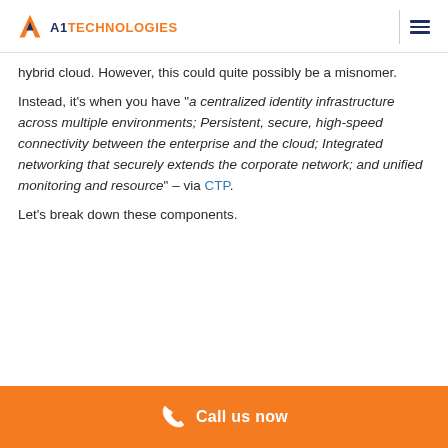A1TECHNOLOGIES
hybrid cloud. However, this could quite possibly be a misnomer.
Instead, it’s when you have “a centralized identity infrastructure across multiple environments; Persistent, secure, high-speed connectivity between the enterprise and the cloud; Integrated networking that securely extends the corporate network; and unified monitoring and resource” – via CTP.
Let’s break down these components.
Call us now